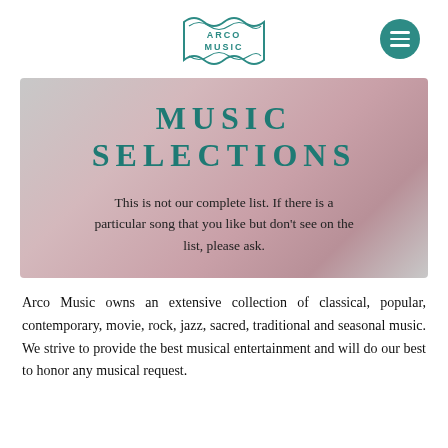ARCO MUSIC
MUSIC SELECTIONS
This is not our complete list. If there is a particular song that you like but don't see on the list, please ask.
Arco Music owns an extensive collection of classical, popular, contemporary, movie, rock, jazz, sacred, traditional and seasonal music. We strive to provide the best musical entertainment and will do our best to honor any musical request.